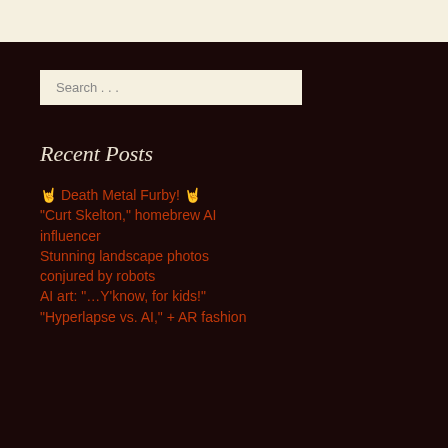Search . . .
Recent Posts
🤘 Death Metal Furby! 🤘
“Curt Skelton,” homebrew AI influencer
Stunning landscape photos conjured by robots
AI art: “…Y’know, for kids!”
“Hyperlapse vs. AI,” + AR fashion